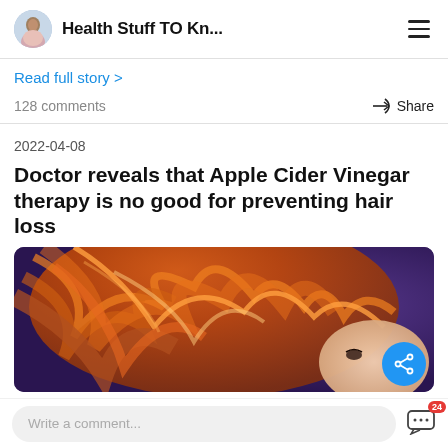Health Stuff TO Kn...
Read full story >
128 comments
Share
2022-04-08
Doctor reveals that Apple Cider Vinegar therapy is no good for preventing hair loss
[Figure (photo): Woman with flowing red-orange hair against a purple background]
Write a comment...